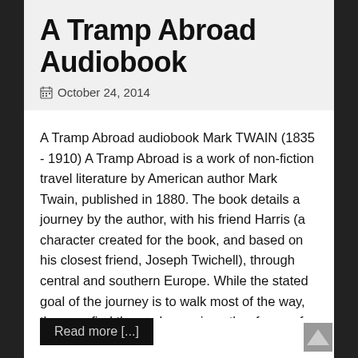A Tramp Abroad Audiobook
October 24, 2014
A Tramp Abroad audiobook Mark TWAIN (1835 - 1910) A Tramp Abroad is a work of non-fiction travel literature by American author Mark Twain, published in 1880. The book details a journey by the author, with his friend Harris (a character created for the book, and based on his closest friend, Joseph Twichell), through central and southern Europe. While the stated goal of the journey is to walk most of the way, the men find themselves using other forms of transport as they traverse the continent. The
Read more [...]